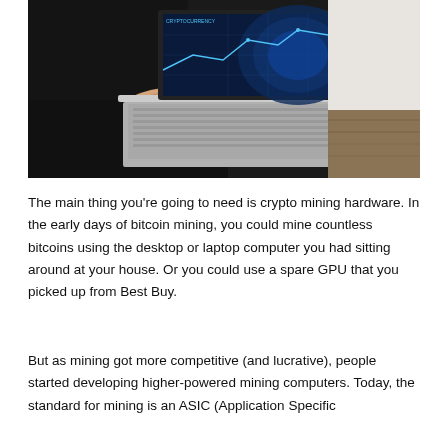[Figure (photo): A person in dark clothing typing on a laptop computer. The laptop screen displays a blue digital world map with financial data charts and graphs overlaid. The laptop is placed on a wooden surface outdoors.]
The main thing you're going to need is crypto mining hardware. In the early days of bitcoin mining, you could mine countless bitcoins using the desktop or laptop computer you had sitting around at your house. Or you could use a spare GPU that you picked up from Best Buy.
But as mining got more competitive (and lucrative), people started developing higher-powered mining computers. Today, the standard for mining is an ASIC (Application Specific